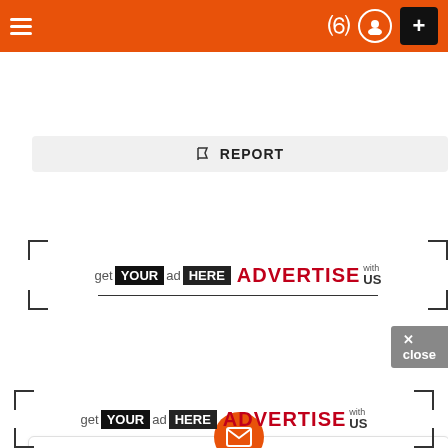[Figure (screenshot): Orange navigation bar with hamburger menu, crescent moon icon, user profile circle icon, and black plus button]
REPORT
[Figure (infographic): Advertisement banner: get YOUR ad HERE ADVERTISE with US, with bracket corner marks]
[Figure (infographic): Email subscription card with orange envelope circle icon, headline 'Want more stuff like this?', subtext 'Get the best viral stories straight into your inbox!', and a blue checkbox]
[Figure (infographic): Second advertisement banner at bottom: get YOUR ad HERE ADVERTISE with US, with bracket corner marks]
✕ close